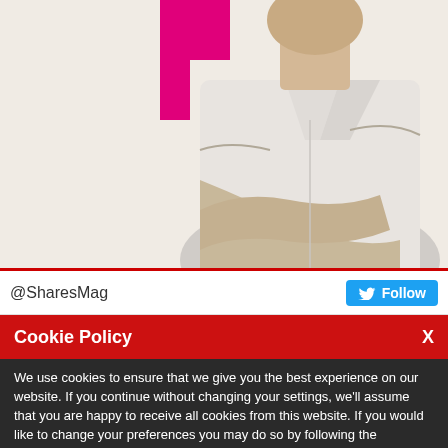[Figure (photo): Black and white photo of a woman in a white button-up shirt with arms crossed against a light background, with a magenta/pink accent color on the left side]
@SharesMag
Follow
Cookie Policy   X
We use cookies to ensure that we give you the best experience on our website. If you continue without changing your settings, we'll assume that you are happy to receive all cookies from this website. If you would like to change your preferences you may do so by following the instructions here.